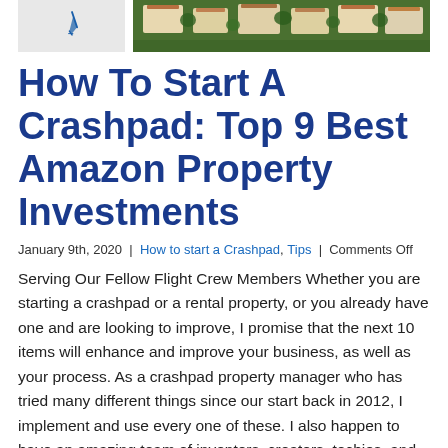[Figure (photo): Two images side by side at top: left is a light-colored graphic with a pen/quill icon, right is an aerial photo of suburban houses with green trees]
How To Start A Crashpad: Top 9 Best Amazon Property Investments
January 9th, 2020  |  How to start a Crashpad, Tips  |  Comments Off
Serving Our Fellow Flight Crew Members Whether you are starting a crashpad or a rental property, or you already have one and are looking to improve, I promise that the next 10 items will enhance and improve your business, as well as your process. As a crashpad property manager who has tried many different things since our start back in 2012, I implement and use every one of these. I also happen to have an amazing team of inventors, creators, techies, and people who are constantly looking for ways to make things more